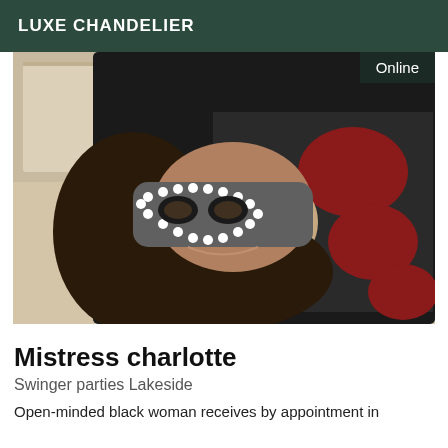LUXE CHANDELIER
[Figure (photo): Woman wearing a studded masquerade mask and black fishnet bodysuit with red accent cutouts, photographed from above at an angle.]
Mistress charlotte
Swinger parties Lakeside
Open-minded black woman receives by appointment in